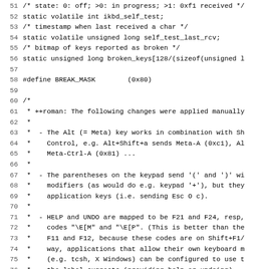Source code listing, lines 51-82, showing C code with comments about ikbd self test, BREAK_MASK define, and keyboard behavior documentation.